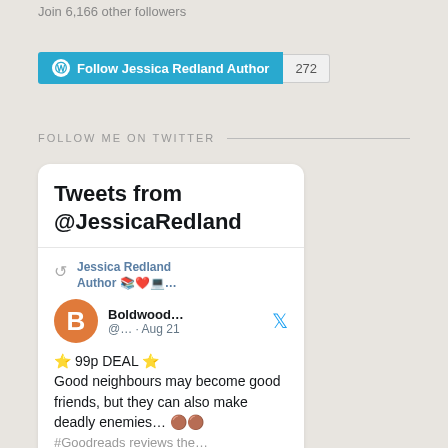Join 6,166 other followers
[Figure (other): WordPress Follow button for Jessica Redland Author with follower count 272]
FOLLOW ME ON TWITTER
[Figure (screenshot): Twitter widget showing Tweets from @JessicaRedland. Contains a retweet by Jessica Redland Author with emojis, from Boldwood... @... Aug 21, with tweet content: ⭐ 99p DEAL ⭐ Good neighbours may become good friends, but they can also make deadly enemies... ••]